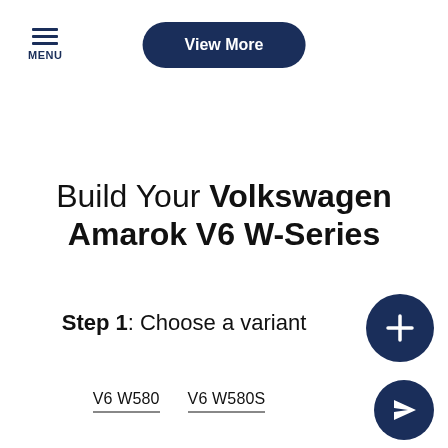MENU
View More
Build Your Volkswagen Amarok V6 W-Series
Step 1: Choose a variant
V6 W580
V6 W580S